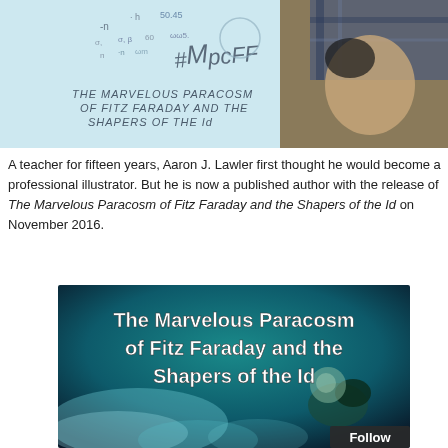[Figure (photo): Top portion of an image showing a whiteboard or paper with handwritten text '#MPcFF' and 'The Marvelous Paracosm of Fitz Faraday and the Shapers of the Id', next to a person wearing a plaid shirt.]
A teacher for fifteen years, Aaron J. Lawler first thought he would become a professional illustrator. But he is now a published author with the release of The Marvelous Paracosm of Fitz Faraday and the Shapers of the Id on November 2016.
[Figure (photo): Book cover image showing 'The Marvelous Paracosm of Fitz Faraday and the Shapers of the Id' with teal/dark atmospheric background and white stylized text. A 'Follow' button is partially visible in the bottom right corner.]